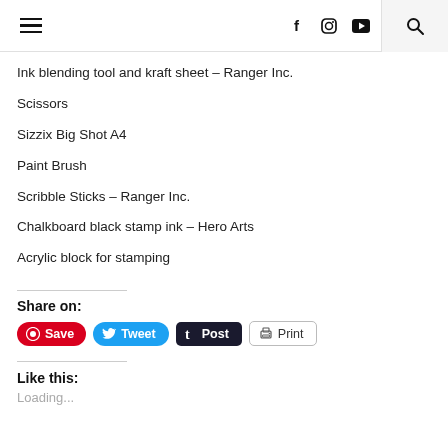Navigation header with hamburger menu, social icons (Facebook, Instagram, YouTube), and search
Ink blending tool and kraft sheet – Ranger Inc.
Scissors
Sizzix Big Shot A4
Paint Brush
Scribble Sticks – Ranger Inc.
Chalkboard black stamp ink – Hero Arts
Acrylic block for stamping
Share on:
Save  Tweet  Post  Print
Like this:
Loading...